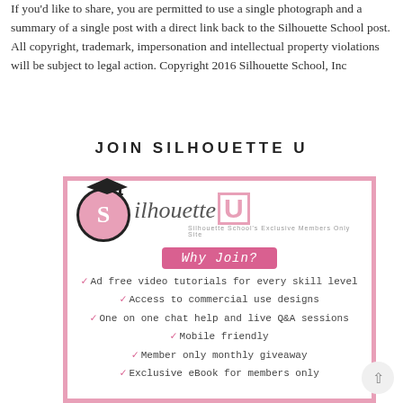If you'd like to share, you are permitted to use a single photograph and a summary of a single post with a direct link back to the Silhouette School post. All copyright, trademark, impersonation and intellectual property violations will be subject to legal action. Copyright 2016 Silhouette School, Inc
JOIN SILHOUETTE U
[Figure (infographic): Silhouette U promotional banner with logo showing a graduation cap over a pink circle with S, the text 'Silhouette U - Silhouette School's Exclusive Members Only Site', a pink 'Why Join?' ribbon, and checkmark bullet points listing: Ad free video tutorials for every skill level, Access to commercial use designs, One on one chat help and live Q&A sessions, Mobile friendly, Member only monthly giveaway, Exclusive eBook for members only]